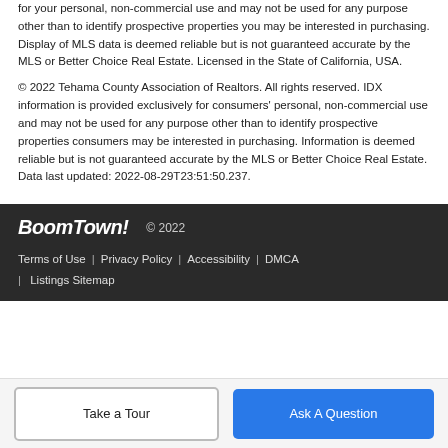for your personal, non-commercial use and may not be used for any purpose other than to identify prospective properties you may be interested in purchasing. Display of MLS data is deemed reliable but is not guaranteed accurate by the MLS or Better Choice Real Estate. Licensed in the State of California, USA.
© 2022 Tehama County Association of Realtors. All rights reserved. IDX information is provided exclusively for consumers' personal, non-commercial use and may not be used for any purpose other than to identify prospective properties consumers may be interested in purchasing. Information is deemed reliable but is not guaranteed accurate by the MLS or Better Choice Real Estate. Data last updated: 2022-08-29T23:51:50.237.
BoomTown! © 2022 Terms of Use | Privacy Policy | Accessibility | DMCA | Listings Sitemap
Take a Tour  Ask A Question